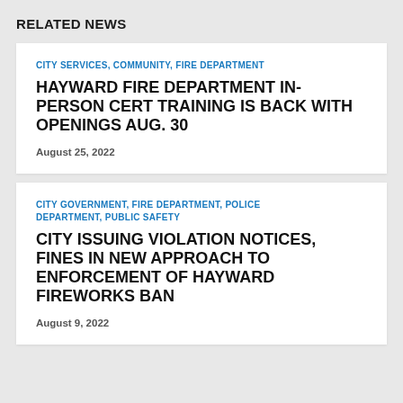RELATED NEWS
CITY SERVICES, COMMUNITY, FIRE DEPARTMENT
HAYWARD FIRE DEPARTMENT IN-PERSON CERT TRAINING IS BACK WITH OPENINGS AUG. 30
August 25, 2022
CITY GOVERNMENT, FIRE DEPARTMENT, POLICE DEPARTMENT, PUBLIC SAFETY
CITY ISSUING VIOLATION NOTICES, FINES IN NEW APPROACH TO ENFORCEMENT OF HAYWARD FIREWORKS BAN
August 9, 2022